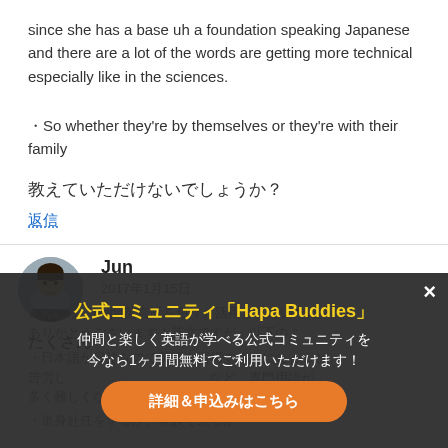since she has a base uh a foundation speaking Japanese and there are a lot of the words are getting more technical especially like in the sciences.
・So whether they're by themselves or they're with their family
教えていただけないでしょうか？
返信
Jun
2017年1月15日
たくさん
[Figure (screenshot): Dark overlay popup with yellow title '公式コミュニティ「Hapa Buddies」', white subtitle text '仲間と楽しく英語が学べる公式コミュニティを今なら1ヶ月間無料でご利用いただけます！', and an orange button '詳細＆申込みはこちら', with a white X close button in the top right.]